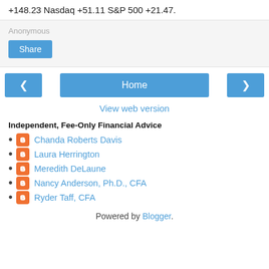+148.23 Nasdaq +51.11 S&P 500 +21.47.
Anonymous
Share
Home
View web version
Independent, Fee-Only Financial Advice
Chanda Roberts Davis
Laura Herrington
Meredith DeLaune
Nancy Anderson, Ph.D., CFA
Ryder Taff, CFA
Powered by Blogger.